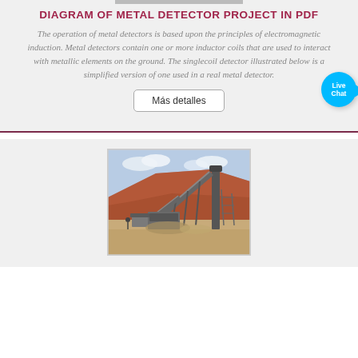DIAGRAM OF METAL DETECTOR PROJECT IN PDF
The operation of metal detectors is based upon the principles of electromagnetic induction. Metal detectors contain one or more inductor coils that are used to interact with metallic elements on the ground. The singlecoil detector illustrated below is a simplified version of one used in a real metal detector.
Más detalles
[Figure (photo): Photograph of an industrial mining or quarry conveyor/screening plant with machinery against a reddish hillside background under a partly cloudy sky.]